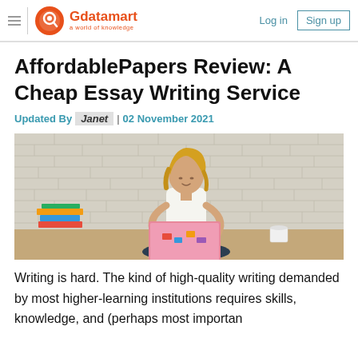Gdatamart | a world of knowledge | Log in | Sign up
AffordablePapers Review: A Cheap Essay Writing Service
Updated By Janet | 02 November 2021
[Figure (photo): Young woman with blonde hair sitting on the floor against a white brick wall, working on a pink laptop, with books stacked beside her and a coffee cup nearby]
Writing is hard. The kind of high-quality writing demanded by most higher-learning institutions requires skills, knowledge, and (perhaps most importan